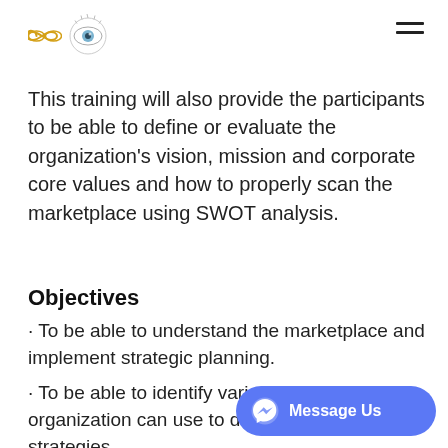[Logo: infinity symbol and eye icon, hamburger menu]
This training will also provide the participants to be able to define or evaluate the organization's vision, mission and corporate core values and how to properly scan the marketplace using SWOT analysis.
Objectives
• To be able to understand the marketplace and implement strategic planning.
• To be able to identify various approaches the organization can use to develop and implement strategies.